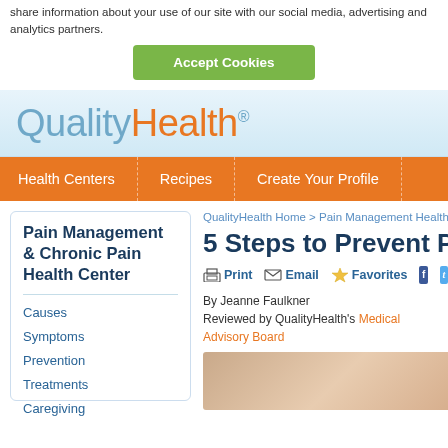share information about your use of our site with our social media, advertising and analytics partners.
Accept Cookies
[Figure (logo): QualityHealth logo with Quality in light blue and Health in orange, with registered trademark symbol]
Health Centers | Recipes | Create Your Profile
Pain Management & Chronic Pain Health Center
QualityHealth Home > Pain Management Health C
5 Steps to Prevent P
Print  Email  Favorites
By Jeanne Faulkner
Reviewed by QualityHealth's Medical Advisory Board
Causes
Symptoms
Prevention
Treatments
Caregiving
[Figure (photo): Cropped photo of a person, partial body visible]